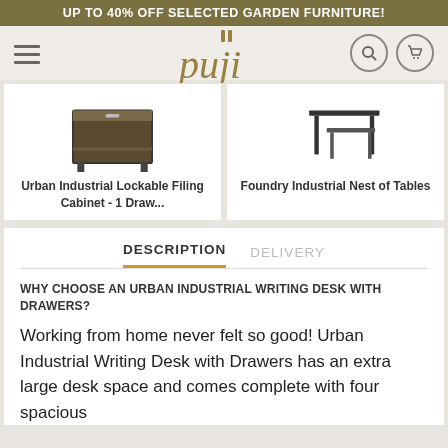UP TO 40% OFF SELECTED GARDEN FURNITURE!
[Figure (screenshot): Puji furniture retailer website navbar with hamburger menu, Puji logo, search icon, and cart icon]
[Figure (photo): Urban Industrial Lockable Filing Cabinet - 1 Draw... product thumbnail image]
Urban Industrial Lockable Filing Cabinet - 1 Draw...
[Figure (photo): Foundry Industrial Nest of Tables product thumbnail image]
Foundry Industrial Nest of Tables
DESCRIPTION   DELIVERY
WHY CHOOSE AN URBAN INDUSTRIAL WRITING DESK WITH DRAWERS?
Working from home never felt so good! Urban Industrial Writing Desk with Drawers has an extra large desk space and comes complete with four spacious